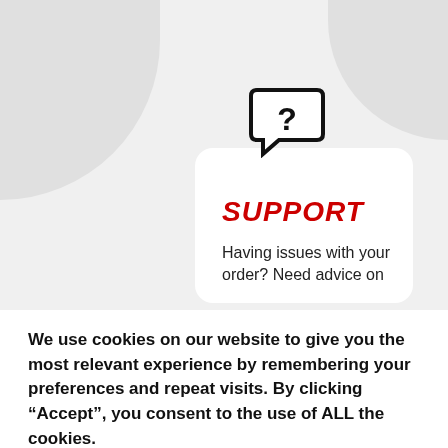[Figure (illustration): Chat bubble icon with question mark, shown above a white card with 'SUPPORT' title. Decorative grey corner shapes in background.]
SUPPORT
Having issues with your order? Need advice on
We use cookies on our website to give you the most relevant experience by remembering your preferences and repeat visits. By clicking “Accept”, you consent to the use of ALL the cookies. Do not sell my personal information.
Accept